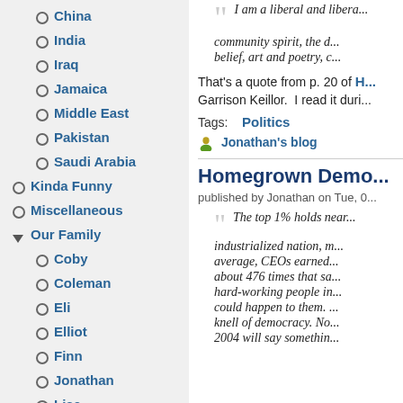China
India
Iraq
Jamaica
Middle East
Pakistan
Saudi Arabia
Kinda Funny
Miscellaneous
Our Family
Coby
Coleman
Eli
Elliot
Finn
Jonathan
Lisa
Poetry
I am a liberal and libera... community spirit, the d... belief, art and poetry, c...
That's a quote from p. 20 of H... Garrison Keillor.  I read it duri...
Tags:    Politics
Jonathan's blog
Homegrown Demo...
published by Jonathan on Tue, 0...
The top 1% holds near... industrialized nation, m... average, CEOs earned... about 476 times that sa... hard-working people in... could happen to them. ... knell of democracy. No... 2004 will say somethin...